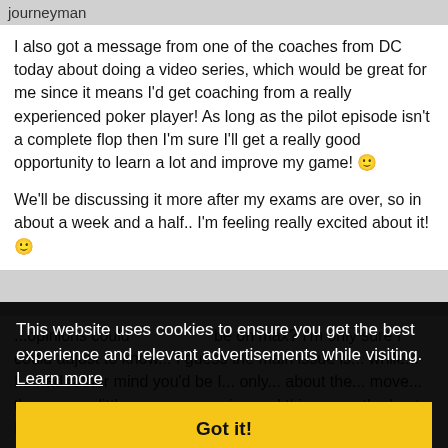journeyman
I also got a message from one of the coaches from DC today about doing a video series, which would be great for me since it means I'd get coaching from a really experienced poker player! As long as the pilot episode isn't a complete flop then I'm sure I'll get a really good opportunity to learn a lot and improve my game! 🙂
We'll be discussing it more after my exams are over, so in about a week and a half.. I'm feeling really excited about it! 🙂
This website uses cookies to ensure you get the best experience and relevant advertisements while visiting. Learn more
Got it!
...opinions could be on max? I'm only sure I could adjust to know... I guess the main issue is... while... I... had rather mind you'd be I... only... about the... move... these are a little more aggressive and this... so... the best I... would have big hands when they came.